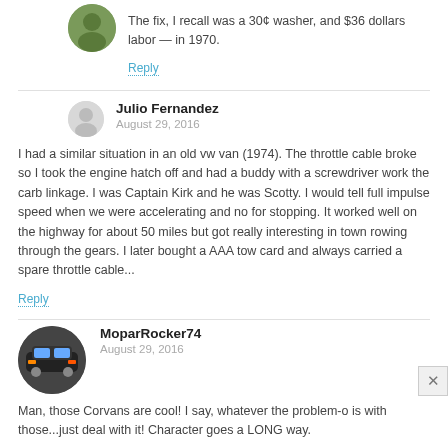The fix, I recall was a 30¢ washer, and $36 dollars labor — in 1970.
Reply
Julio Fernandez
August 29, 2016
I had a similar situation in an old vw van (1974). The throttle cable broke so I took the engine hatch off and had a buddy with a screwdriver work the carb linkage. I was Captain Kirk and he was Scotty. I would tell full impulse speed when we were accelerating and no for stopping. It worked well on the highway for about 50 miles but got really interesting in town rowing through the gears. I later bought a AAA tow card and always carried a spare throttle cable...
Reply
MoparRocker74
August 29, 2016
Man, those Corvans are cool! I say, whatever the problem-o is with those...just deal with it! Character goes a LONG way.
Reply
67Conti
August 30, 2016